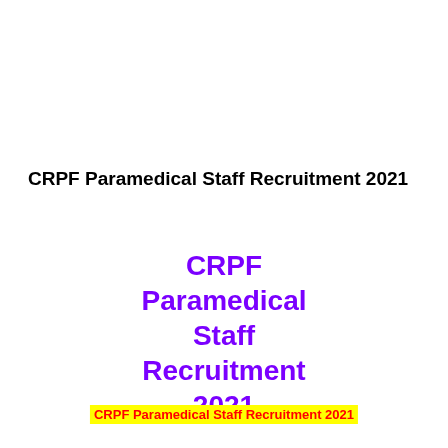CRPF Paramedical Staff Recruitment 2021
CRPF Paramedical Staff Recruitment 2021
CRPF Paramedical Staff Recruitment 2021